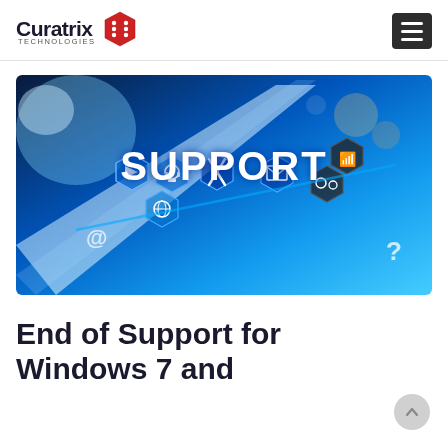Curatrix Technologies
[Figure (photo): Technology support concept image showing a tablet with hexagonal icons for support services including customer service, email, phone, settings, globe, and the word SUPPORT in bold white text on a blue digital background.]
End of Support for Windows 7 and